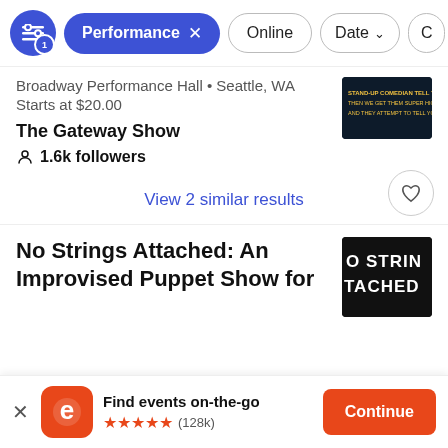Performance x  Online  Date  C
Broadway Performance Hall • Seattle, WA
Starts at $20.00
The Gateway Show
1.6k followers
View 2 similar results
No Strings Attached: An Improvised Puppet Show for
Find events on-the-go ★★★★★ (128k)  Continue